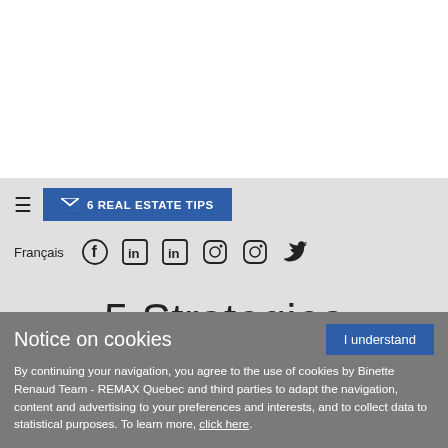6 REAL ESTATE TIPS | Français | Social icons navigation
5 Strategies
Notice on cookies
By continuing your navigation, you agree to the use of cookies by Binette Renaud Team - REMAX Quebec and third parties to adapt the navigation, content and advertising to your preferences and interests, and to collect data to statistical purposes. To learn more, click here.